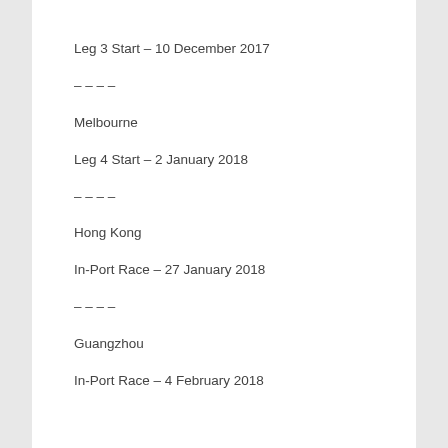Leg 3 Start – 10 December 2017
– – – –
Melbourne
Leg 4 Start – 2 January 2018
– – – –
Hong Kong
In-Port Race – 27 January 2018
– – – –
Guangzhou
In-Port Race – 4 February 2018